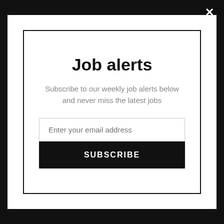Job alerts
Subscribe to our weekly job alerts below and never miss the latest jobs
Enter your email address
SUBSCRIBE